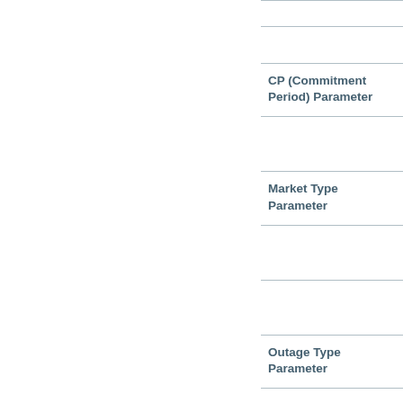CP (Commitment Period) Parameter
Market Type Parameter
Outage Type Parameter
Equipment Type Parameter